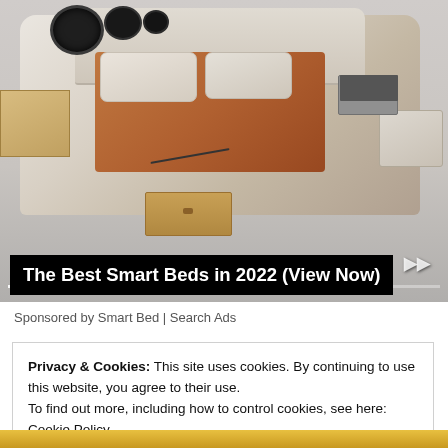[Figure (photo): Advertisement photo of a multifunctional smart bed with speakers, storage drawers, massage chair, laptop stand, and other built-in features, shown in cream/beige leather. Below the image are media playback controls and a progress bar.]
The Best Smart Beds in 2022 (View Now)
Sponsored by Smart Bed | Search Ads
Privacy & Cookies: This site uses cookies. By continuing to use this website, you agree to their use.
To find out more, including how to control cookies, see here:
Cookie Policy
Close and accept